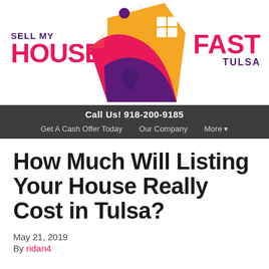[Figure (logo): Sell My House Fast Tulsa logo with stylized house icon in orange, red, and purple colors]
Call Us! 918-200-9185 | Get A Cash Offer Today | Our Company | More
How Much Will Listing Your House Really Cost in Tulsa?
May 21, 2019
By ridan4